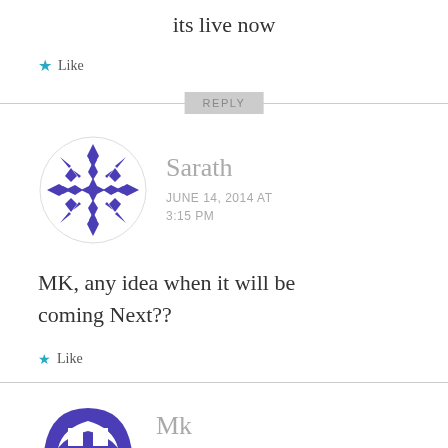its live now
★ Like
REPLY
[Figure (illustration): Decorative geometric snowflake avatar for user Sarath]
Sarath
JUNE 14, 2014 AT 3:15 PM
MK, any idea when it will be coming Next??
★ Like
[Figure (illustration): Decorative geometric avatar for user Mk (partially visible)]
Mk